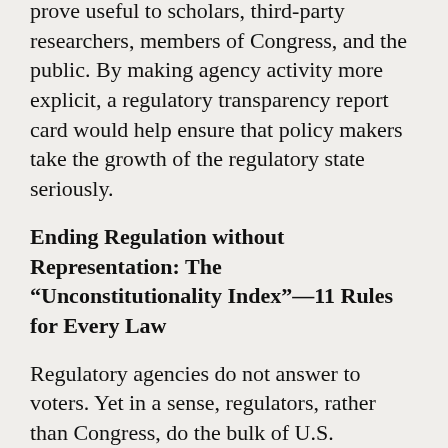prove useful to scholars, third-party researchers, members of Congress, and the public. By making agency activity more explicit, a regulatory transparency report card would help ensure that policy makers take the growth of the regulatory state seriously.
Ending Regulation without Representation: The “Unconstitutionality Index”—11 Rules for Every Law
Regulatory agencies do not answer to voters. Yet in a sense, regulators, rather than Congress, do the bulk of U.S. lawmaking. Legal scholar Phillip Hamburger has described the rise of a monarchical administrative state in defiance of a Constitution that “expressly bars the delegation of legislative power.”[i] But agencies